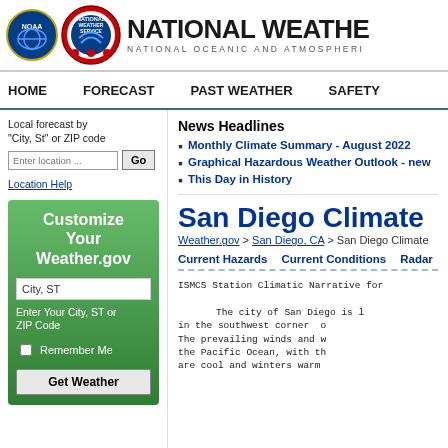[Figure (logo): NOAA and National Weather Service logos with two circular emblems]
NATIONAL WEATHER SERVICE
NATIONAL OCEANIC AND ATMOSPHERIC
HOME   FORECAST   PAST WEATHER   SAFETY
Local forecast by "City, St" or ZIP code
Location Help
[Figure (screenshot): Green Customize Your Weather.gov sidebar box with City, ST input, Remember Me checkbox, and Get Weather button]
News Headlines
Monthly Climate Summary - August 2022
Graphical Hazardous Weather Outlook - new
This Day in History
San Diego Climate
Weather.gov > San Diego, CA > San Diego Climate
Current Hazards   Current Conditions   Radar
ISMCS Station Climatic Narrative for
The city of San Diego is l
in the southwest corner  o
The prevailing winds and w
the Pacific Ocean, with th
are cool and winters warm